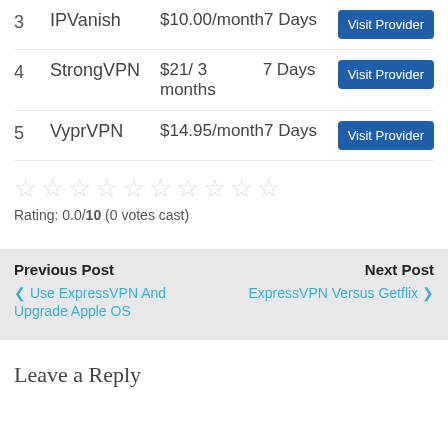3  IPVanish  $10.00/month  7 Days  [Visit Provider]
4  StrongVPN  $21/3 months  7 Days  [Visit Provider]
5  VyprVPN  $14.95/month  7 Days  [Visit Provider]
Rating: 0.0/10 (0 votes cast)
Previous Post
< Use ExpressVPN And Upgrade Apple OS
Next Post
ExpressVPN Versus Getflix >
Leave a Reply